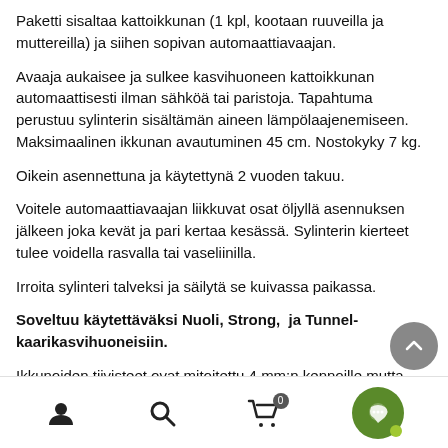Paketti sisaltaa kattoikkunan (1 kpl, kootaan ruuveilla ja muttereilla) ja siihen sopivan automaattiavaajan.
Avaaja aukaisee ja sulkee kasvihuoneen kattoikkunan automaattisesti ilman sähköä tai paristoja. Tapahtuma perustuu sylinterin sisältämän aineen lämpölaajenemiseen. Maksimaalinen ikkunan avautuminen 45 cm. Nostokyky 7 kg.
Oikein asennettuna ja käytettynä 2 vuoden takuu.
Voitele automaattiavaajan liikkuvat osat öljyllä asennuksen jälkeen joka kevät ja pari kertaa kesässä. Sylinterin kierteet tulee voidella rasvalla tai vaseliinilla.
Irroita sylinteri talveksi ja säilytä se kuivassa paikassa.
Soveltuu käytettäväksi Nuoli, Strong,  ja Tunnel-kaarikasvihuoneisiin.
Ikkunoiden tiivisteet ovat mitoitettu 4 mm:n kennoille mutta pienillä korjaustoimenpiteillä asennus onnistuu myös 6 mm:n kasvihuoneillekin. Kattoikkunan kennolevyn paksuus on 4 mm.
Navigation bar with user, search, cart (0), and chat icons